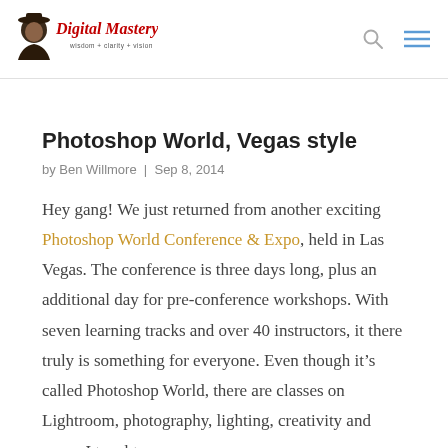[Figure (logo): Digital Mastery logo with portrait of Ben Willmore wearing a hat and red stylized text 'Digital Mastery' with tagline 'wisdom + clarity + vision']
Photoshop World, Vegas style
by Ben Willmore | Sep 8, 2014
Hey gang! We just returned from another exciting Photoshop World Conference & Expo, held in Las Vegas. The conference is three days long, plus an additional day for pre-conference workshops. With seven learning tracks and over 40 instructors, it there truly is something for everyone. Even though it’s called Photoshop World, there are classes on Lightroom, photography, lighting, creativity and more. I taught